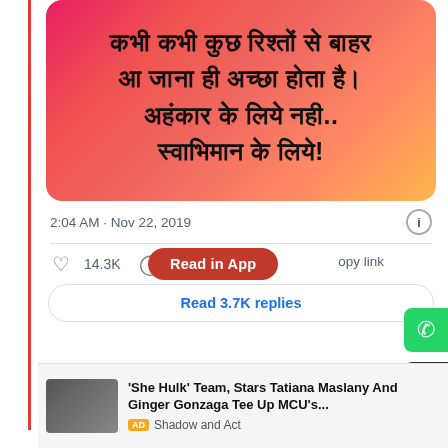[Figure (illustration): Hindi quote text on a gradient background (pink to orange): कभी कभी कुछ रिश्तों से बाहर आ जाना ही अच्छा होता है। अहंकार के लिये नही.. स्वाभिमान के लिये!]
2:04 AM · Nov 22, 2019
14.3K
Read in App
opy link
Read 3.7K replies
'She Hulk' Team, Stars Tatiana Maslany And Ginger Gonzaga Tee Up MCU's...
AD Shadow and Act